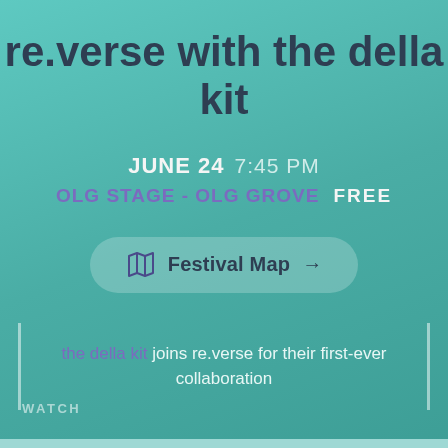re.verse with the della kit
JUNE 24  7:45 PM
OLG STAGE - OLG GROVE   FREE
Festival Map →
the della kit joins re.verse for their first-ever collaboration
WATCH